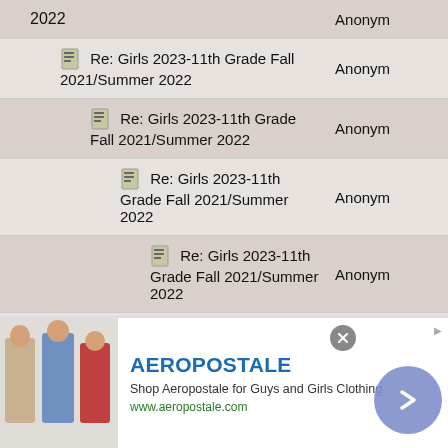| Subject | Author |
| --- | --- |
| 2022 | Anonym |
| 📋 Re: Girls 2023-11th Grade Fall 2021/Summer 2022 | Anonym |
| 📋 Re: Girls 2023-11th Grade Fall 2021/Summer 2022 | Anonym |
| 📋 Re: Girls 2023-11th Grade Fall 2021/Summer 2022 | Anonym |
| 📋 Re: Girls 2023-11th Grade Fall 2021/Summer 2022 | Anonym |
| 📋 Re: Girls 2023-11th Grade Fall 2021/Summer 2022 | Anonym |
| 📋 Re: Girls 2023-11th Grade Fall 2021/Summer 2022 | Anonym |
| 📋 Re: Girls 2023-11th Grade Fall 2021/Summer 2022 | Anonym |
[Figure (infographic): Aeropostale advertisement banner with brand logo, tagline 'Shop Aeropostale for Guys and Girls Clothing', URL www.aeropostale.com, clothing photos, close button and navigation arrow.]